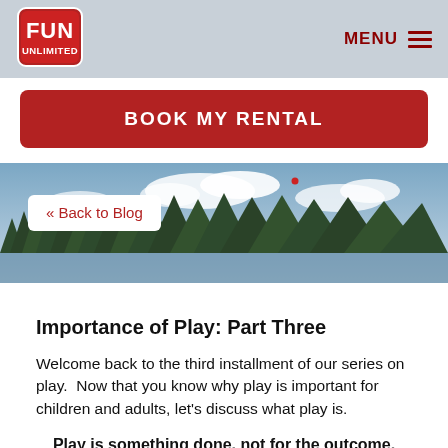[Figure (logo): Fun Unlimited logo — red badge with FUN in large letters and UNLIMITED below]
MENU
BOOK MY RENTAL
[Figure (photo): Outdoor lakeside scene with pine trees, blue sky and clouds]
<< Back to Blog
Importance of Play: Part Three
Welcome back to the third installment of our series on play.  Now that you know why play is important for children and adults, let's discuss what play is.
Play is something done, not for the outcome, but for the process.